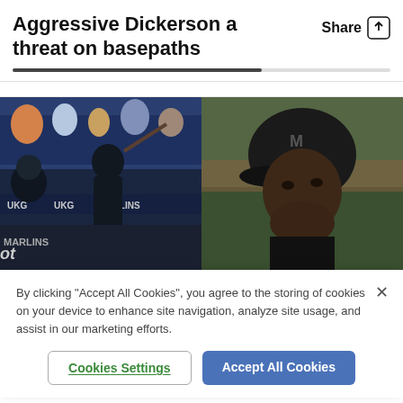Aggressive Dickerson a threat on basepaths
[Figure (photo): Two-panel sports photo: left panel shows a baseball player in black uniform swinging a bat at a game with crowd and UKG/Marlins signage visible; right panel shows a close-up of a player wearing a black helmet with 'M' logo looking upward.]
By clicking "Accept All Cookies", you agree to the storing of cookies on your device to enhance site navigation, analyze site usage, and assist in our marketing efforts.
Cookies Settings
Accept All Cookies